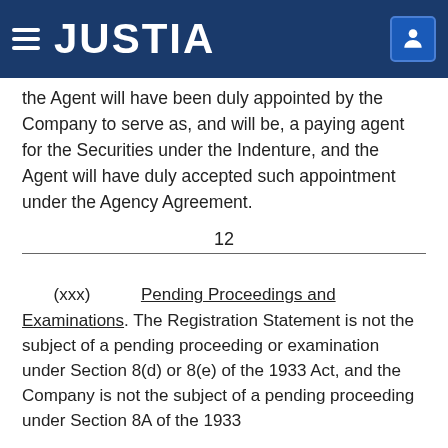JUSTIA
the Agent will have been duly appointed by the Company to serve as, and will be, a paying agent for the Securities under the Indenture, and the Agent will have duly accepted such appointment under the Agency Agreement.
12
(xxx) Pending Proceedings and Examinations. The Registration Statement is not the subject of a pending proceeding or examination under Section 8(d) or 8(e) of the 1933 Act, and the Company is not the subject of a pending proceeding under Section 8A of the 1933